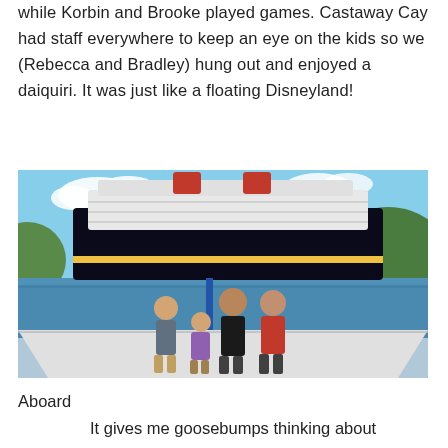while Korbin and Brooke played games. Castaway Cay had staff everywhere to keep an eye on the kids so we (Rebecca and Bradley) hung out and enjoyed a daiquiri. It was just like a floating Disneyland!
[Figure (photo): A family of four posing on the bow of a sailboat/catamaran with a large Disney cruise ship visible in the background on the water, surrounded by green hills and blue sky.]
Aboard
It gives me goosebumps thinking about